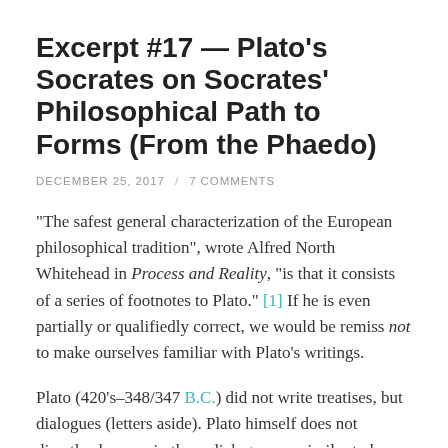Excerpt #17 — Plato's Socrates on Socrates' Philosophical Path to Forms (From the Phaedo)
DECEMBER 25, 2017 / 7 COMMENTS
“The safest general characterization of the European philosophical tradition”, wrote Alfred North Whitehead in Process and Reality, “is that it consists of a series of footnotes to Plato.” [1] If he is even partially or qualifiedly correct, we would be remiss not to make ourselves familiar with Plato’s writings.
Plato (420’s–348/347 B.C.) did not write treatises, but dialogues (letters aside). Plato himself does not directly show up in these dialogues — similar to how